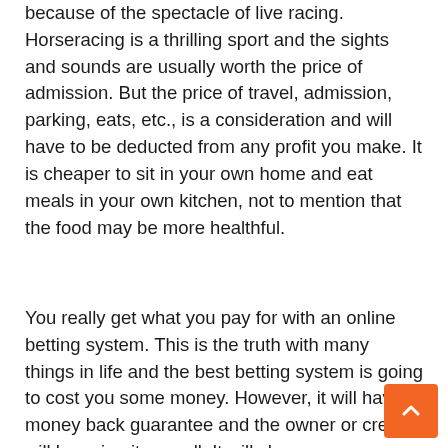because of the spectacle of live racing. Horseracing is a thrilling sport and the sights and sounds are usually worth the price of admission. But the price of travel, admission, parking, eats, etc., is a consideration and will have to be deducted from any profit you make. It is cheaper to sit in your own home and eat meals in your own kitchen, not to mention that the food may be more healthful.
You really get what you pay for with an online betting system. This is the truth with many things in life and the best betting system is going to cost you some money. However, it will have a money back guarantee and the owner or creator will be using it as well. It will show you a